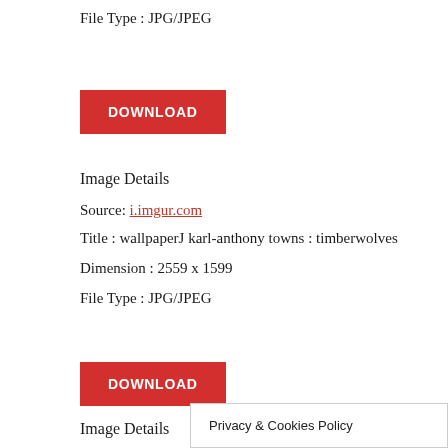File Type : JPG/JPEG
[Figure (other): Red DOWNLOAD button]
Image Details
Source: i.imgur.com
Title : wallpaperJ karl-anthony towns : timberwolves
Dimension : 2559 x 1599
File Type : JPG/JPEG
[Figure (other): Red DOWNLOAD button]
Image Details
Privacy & Cookies Policy